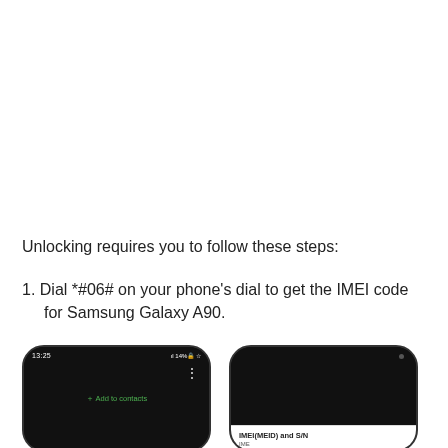Unlocking requires you to follow these steps:
1. Dial *#06# on your phone's dial to get the IMEI code for Samsung Galaxy A90.
[Figure (screenshot): Two Samsung Galaxy A90 smartphones side by side. Left phone shows a dark dial screen with time 13:25, battery 14%, and a '+ Add to contacts' option in green. Right phone shows a dark screen with a white panel at the bottom displaying 'IMEI(MEID) and S/N' heading.]